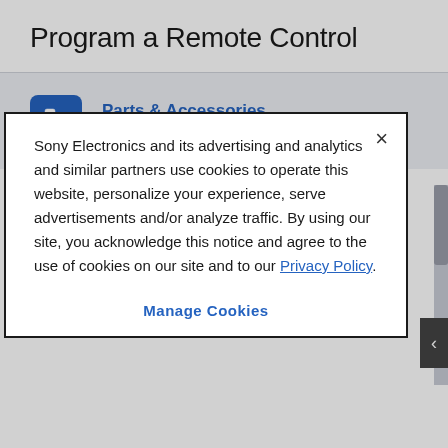Program a Remote Control
Parts & Accessories
Product information and sales assistance
Community
Sony Electronics and its advertising and analytics and similar partners use cookies to operate this website, personalize your experience, serve advertisements and/or analyze traffic. By using our site, you acknowledge this notice and agree to the use of cookies on our site and to our Privacy Policy.
Manage Cookies